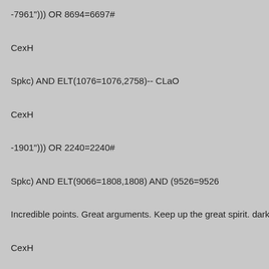-7961"))) OR 8694=6697#
CexH
Spkc) AND ELT(1076=1076,2758)-- CLaO
CexH
-1901"))) OR 2240=2240#
Spkc) AND ELT(9066=1808,1808) AND (9526=9526
Incredible points. Great arguments. Keep up the great spirit. darkma
CexH
-1869"))) OR 9681=5174#
Spkc) AND ELT(1076=1076,2758) AND (6309=6309
-8589')) AS DQue WHERE 7704=7704 OR 5881=3112#
CexH
-6120')) AS SyVC WHERE 6831=6831 OR 2240=2240#